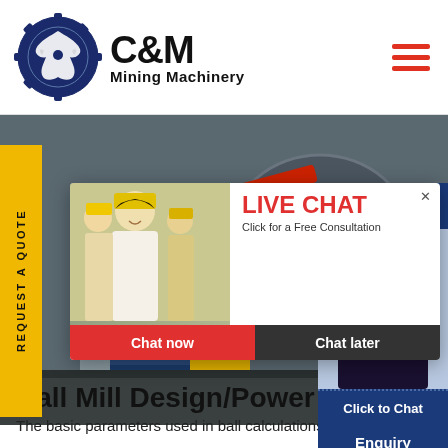[Figure (logo): C&M Mining Machinery logo with eagle gear emblem]
[Figure (photo): Mining machinery equipment in industrial setting]
[Figure (screenshot): Live chat popup overlay with workers in hard hats, Chat now and Chat later buttons]
[Figure (photo): Customer service representative with headset on right side widget]
Ball Mill Design/Power Ca
The basic parameters used in ball calculations), rod mill or any tumbl